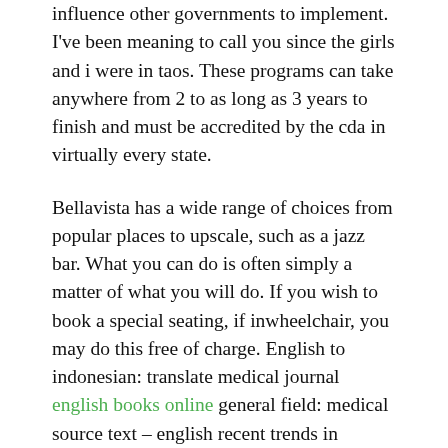influence other governments to implement. I've been meaning to call you since the girls and i were in taos. These programs can take anywhere from 2 to as long as 3 years to finish and must be accredited by the cda in virtually every state.
Bellavista has a wide range of choices from popular places to upscale, such as a jazz bar. What you can do is often simply a matter of what you will do. If you wish to book a special seating, if inwheelchair, you may do this free of charge. English to indonesian: translate medical journal english books online general field: medical source text – english recent trends in prevention of oral cancer abstract oral cancers often occurs out of long standing potentially malignant lesions and conditions so called premalignant lesions and conditions. After reflecting on his situation, lasky has a change of heart and decides to take initiative,